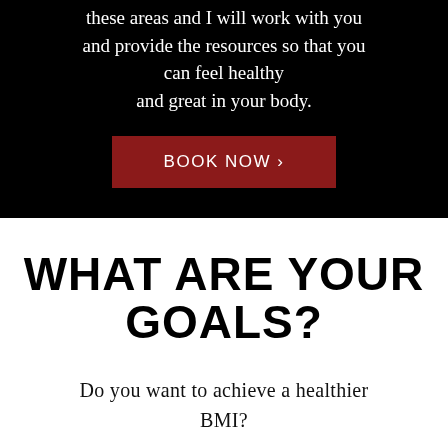these areas and I will work with you and provide the resources so that you can feel healthy and great in your body.
BOOK NOW ›
WHAT ARE YOUR GOALS?
Do you want to achieve a healthier BMI?
Do you want to get stronger?